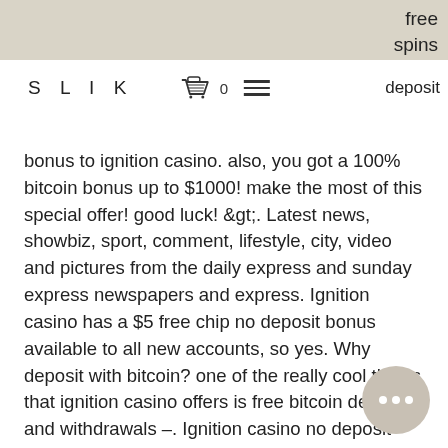free spins deposit
SLIK
bonus to ignition casino. also, you got a 100% bitcoin bonus up to $1000! make the most of this special offer! good luck! &gt;. Latest news, showbiz, sport, comment, lifestyle, city, video and pictures from the daily express and sunday express newspapers and express. Ignition casino has a $5 free chip no deposit bonus available to all new accounts, so yes. Why deposit with bitcoin? one of the really cool things that ignition casino offers is free bitcoin deposits and withdrawals –. Ignition casino no deposit bonus codes - slot machine - top scores! any games - only for our customers. Trial bids - because we are leaders. Dec 7, 2020 enjoy a 100% deposit bonus at both ignition casino and ignition poker for $2100 in cashable bonuses. Ignition casino is a no. When you ignition mobile casino app, will be